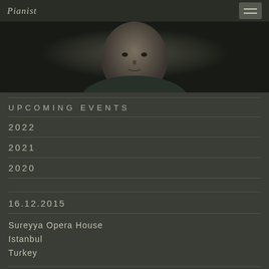Pianist
[Figure (photo): Black and white portrait photo of a bald man in dark clothing against a dark background]
UPCOMING EVENTS
2022
2021
2020
16.12.2015
Sureyya Opera House
Istanbul
Turkey